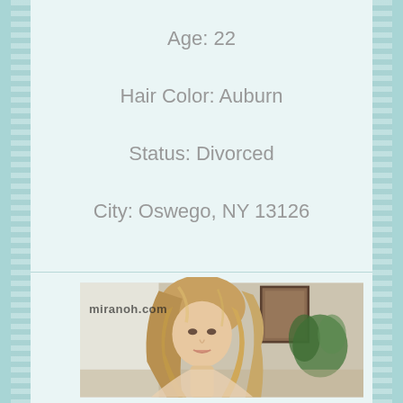Age: 22
Hair Color: Auburn
Status: Divorced
City: Oswego, NY 13126
[Figure (photo): Portrait photo of a young woman with long auburn/blonde wavy hair, looking to the side, indoors with plants and framed artwork visible in background. Watermark reads 'miranoh.com']